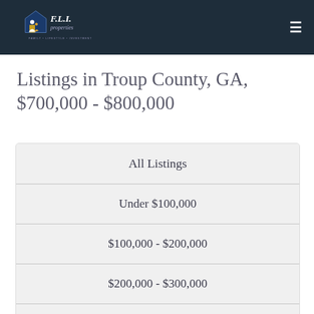[Figure (logo): F.L.I. Properties logo — house icon with family silhouette, text reads F.L.I. properties, FAMILY • LIFESTYLE • INVESTMENT, on dark navy background]
Listings in Troup County, GA, $700,000 - $800,000
| All Listings |
| Under $100,000 |
| $100,000 - $200,000 |
| $200,000 - $300,000 |
| $300,000 - $400,000 |